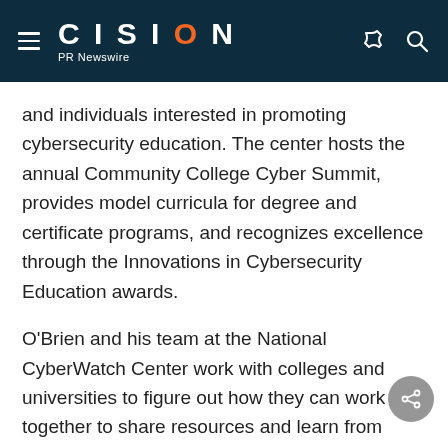CISION PR Newswire
and individuals interested in promoting cybersecurity education. The center hosts the annual Community College Cyber Summit, provides model curricula for degree and certificate programs, and recognizes excellence through the Innovations in Cybersecurity Education awards.
O'Brien and his team at the National CyberWatch Center work with colleges and universities to figure out how they can work together to share resources and learn from each other to create a better student experience — conversations that are not always easy for schools that want to do things their own way.